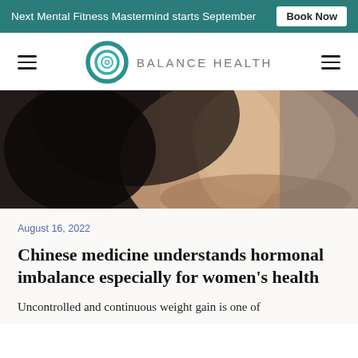Next Mental Fitness Mastermind starts September  Book Now
[Figure (logo): Balance Health logo with teal circular ring and text BALANCE HEALTH]
[Figure (photo): Close-up photo of a woman's neck and shoulder area against a dark background]
August 16, 2022
Chinese medicine understands hormonal imbalance especially for women’s health
Uncontrolled and continuous weight gain is one of